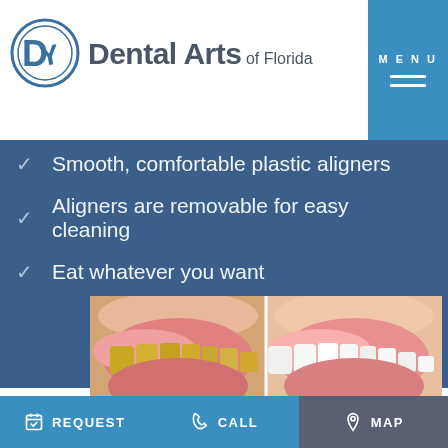[Figure (logo): Dental Arts of Florida logo with circular emblem and text]
Smooth, comfortable plastic aligners
Aligners are removable for easy cleaning
Eat whatever you want
[Figure (photo): Before and after comparison photo of teeth whitening — left side shows yellowed teeth, right side shows white teeth, split by a white vertical line]
REQUEST   CALL   MAP